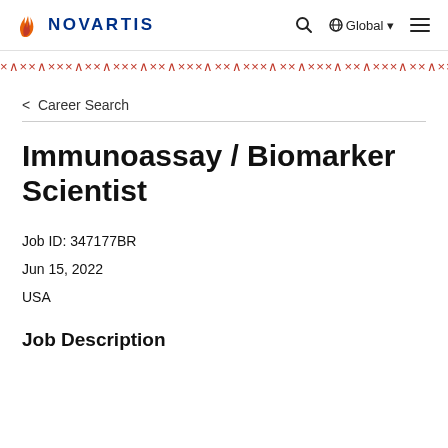NOVARTIS | Global
[Figure (illustration): Decorative red X and caret pattern bar across the top of the page]
< Career Search
Immunoassay / Biomarker Scientist
Job ID: 347177BR
Jun 15, 2022
USA
Job Description